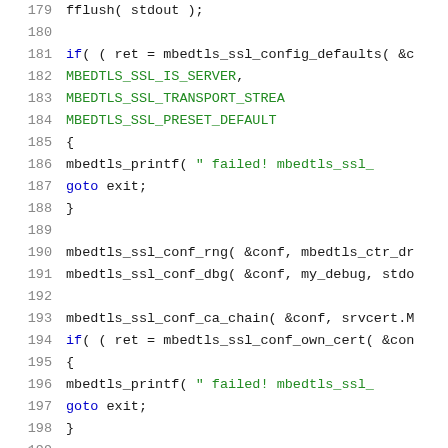[Figure (screenshot): Source code listing in C showing mbedTLS SSL configuration, lines 179-200, with syntax highlighting: line numbers in gray, keywords in blue, string literals in green, identifiers in black.]